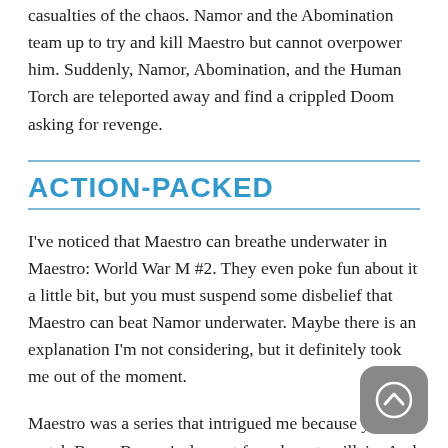casualties of the chaos. Namor and the Abomination team up to try and kill Maestro but cannot overpower him. Suddenly, Namor, Abomination, and the Human Torch are teleported away and find a crippled Doom asking for revenge.
ACTION-PACKED
I've noticed that Maestro can breathe underwater in Maestro: World War M #2. They even poke fun about it a little bit, but you must suspend some disbelief that Maestro can beat Namor underwater. Maybe there is an explanation I'm not considering, but it definitely took me out of the moment.
Maestro was a series that intrigued me because you watch Bruce Banner's descent from hero to villain. And that